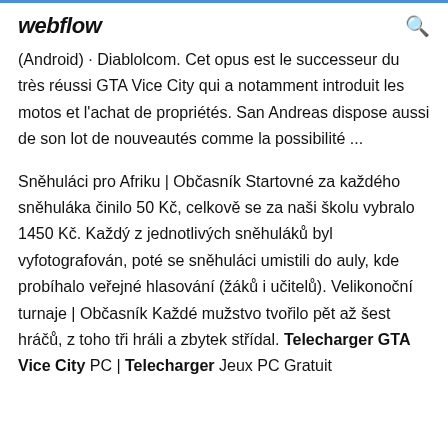webflow
(Android) · Diablolcom. Cet opus est le successeur du très réussi GTA Vice City qui a notamment introduit les motos et l'achat de propriétés. San Andreas dispose aussi de son lot de nouveautés comme la possibilité ...
Sněhuláci pro Afriku | Občasník Startovné za každého sněhuláka činilo 50 Kč, celkově se za naši školu vybralo 1450 Kč. Každý z jednotlivých sněhuláků byl vyfotografován, poté se sněhuláci umistili do auly, kde probíhalo veřejné hlasování (žáků i učitelů). Velikonoční turnaje | Občasník Každé mužstvo tvořilo pět až šest hráčů, z toho tři hráli a zbytek střídal. Telecharger GTA Vice City PC | Telecharger Jeux PC Gratuit